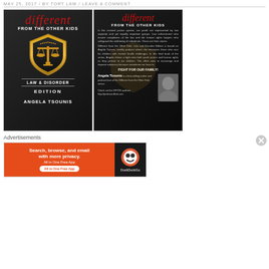MAY 25, 2017 / BY TORT LAW / LEAVE A COMMENT
[Figure (illustration): Book cover for 'Different from the Other Kids: Law & Disorder Edition' by Angela Tsounis. Dark leather background with red italic title, gold scales of justice shield emblem, white text subtitle and author name.]
[Figure (illustration): Back cover of 'Different from the Other Kids: Law & Disorder Edition'. Dark background with red italic 'different' title, gold scales watermark, descriptive text about criminal justice system and youth, author Angela Tsounis bio with black and white photo.]
Advertisements
[Figure (screenshot): DuckDuckGo advertisement banner: orange left panel with 'Search, browse, and email with more privacy. All in One Free App' and dark right panel with DuckDuckGo logo.]